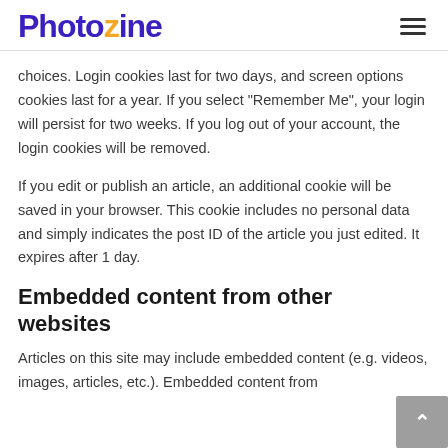Photozine
choices. Login cookies last for two days, and screen options cookies last for a year. If you select "Remember Me", your login will persist for two weeks. If you log out of your account, the login cookies will be removed.
If you edit or publish an article, an additional cookie will be saved in your browser. This cookie includes no personal data and simply indicates the post ID of the article you just edited. It expires after 1 day.
Embedded content from other websites
Articles on this site may include embedded content (e.g. videos, images, articles, etc.). Embedded content from